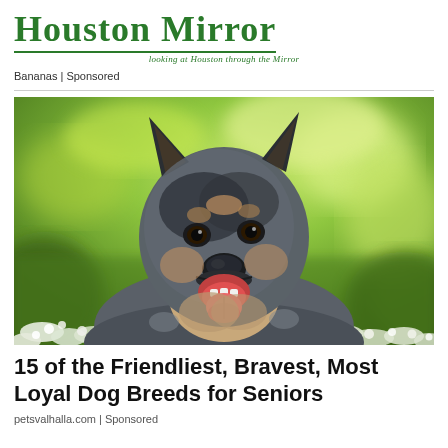HOUSTON MIRROR
Looking at Houston through the Mirror
Bananas | Sponsored
[Figure (photo): A blue heeler / Australian Cattle Dog photographed outdoors among white flowers with a blurred green bokeh background. The dog is facing slightly right, mouth open with tongue out, ears erect, looking alert and happy.]
15 of the Friendliest, Bravest, Most Loyal Dog Breeds for Seniors
petsvalhalla.com | Sponsored